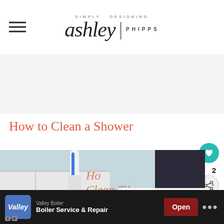Simply Designing ashley | PHIPPS
[Figure (other): Gray advertisement placeholder zone]
How to Clean a Shower
[Figure (photo): Photo of a person using a steam cleaner or electric cleaning tool near shower tiles. A video overlay shows 'WHAT'S NEXT — How to Clean a Shower |...' with text reading 'How to Clean Tile...' overlaid on the image.]
[Figure (infographic): Bottom ad bar: Valley Boiler — Boiler Service & Repair — Open button]